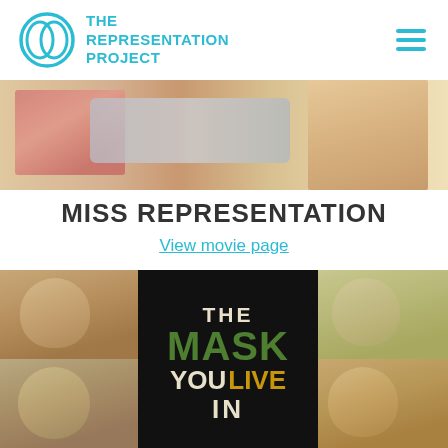THE REPRESENTATION PROJECT
[Figure (photo): Banner image showing a person viewing content on a laptop or tablet screen, close-up of lips and skin tones visible]
MISS REPRESENTATION
View movie page
[Figure (photo): Composite image showing four young men of Asian descent in the corners, with center text reading THE MASK YOU LIVE IN — THE in cream, MASK in green, YOU in cream, LIVE in gold/yellow, IN in cream, all on black background]